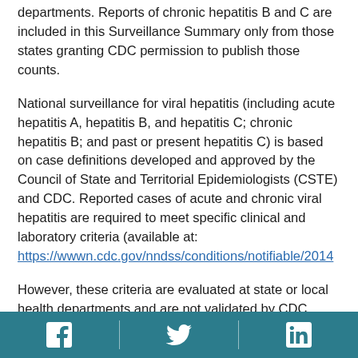departments. Reports of chronic hepatitis B and C are included in this Surveillance Summary only from those states granting CDC permission to publish those counts.
National surveillance for viral hepatitis (including acute hepatitis A, hepatitis B, and hepatitis C; chronic hepatitis B; and past or present hepatitis C) is based on case definitions developed and approved by the Council of State and Territorial Epidemiologists (CSTE) and CDC. Reported cases of acute and chronic viral hepatitis are required to meet specific clinical and laboratory criteria (available at: https://wwwn.cdc.gov/nndss/conditions/notifiable/2014
However, these criteria are evaluated at state or local health departments and are not validated by CDC.
[Figure (other): Footer bar with social media icons: Facebook, Twitter, LinkedIn on teal background]